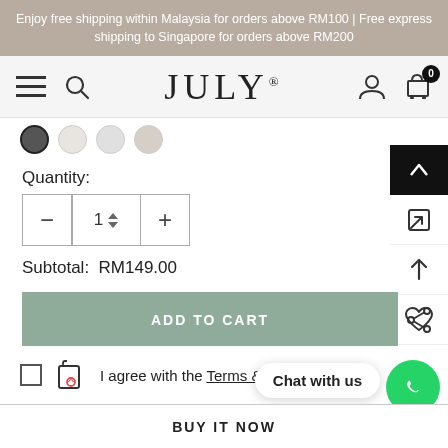Enjoy free shipping within Malaysia for orders above RM100 | Free express shipping to Singapore for orders above RM200
[Figure (screenshot): JULY brand logo with navigation icons (hamburger menu, search, user account, shopping cart with 0 badge)]
Quantity:
1
Subtotal: RM149.00
ADD TO CART
I agree with the Terms & Sales
Chat with us
BUY IT NOW